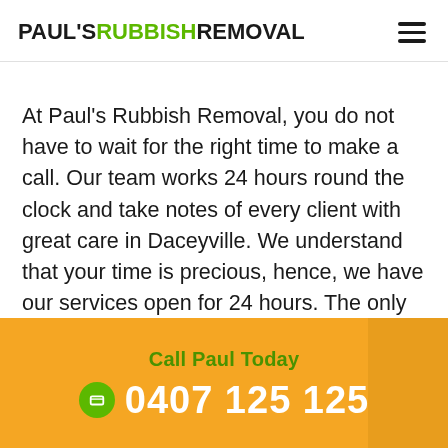PAUL'S RUBBISH REMOVAL
At Paul's Rubbish Removal, you do not have to wait for the right time to make a call. Our team works 24 hours round the clock and take notes of every client with great care in Daceyville. We understand that your time is precious, hence, we have our services open for 24 hours. The only task left for you is to make a call as soon as possible, book yourself an appointment and enjoy our services at a cost-effective price.
Call Paul Today
0407 125 125